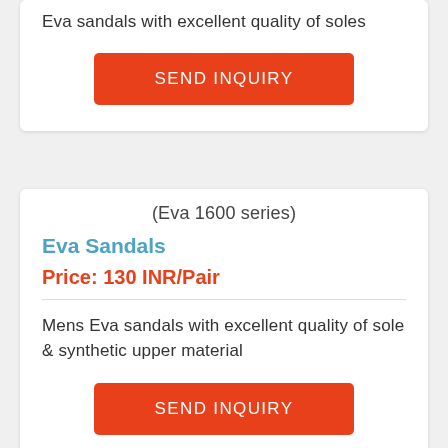Eva sandals with excellent quality of soles
SEND INQUIRY
(Eva 1600 series)
Eva Sandals
Price: 130 INR/Pair
Mens Eva sandals with excellent quality of sole & synthetic upper material
SEND INQUIRY